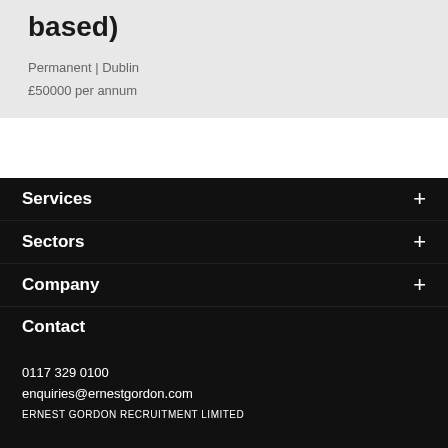based)
Permanent | Dublin
£50000 per annum
Services
Sectors
Company
Contact
0117 329 0100
enquiries@ernestgordon.com
ERNEST GORDON RECRUITMENT LIMITED